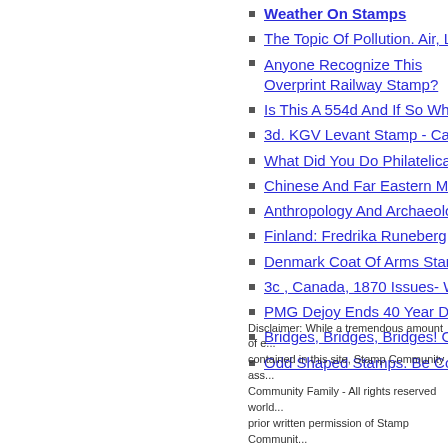Weather On Stamps
The Topic Of Pollution. Air, Land, ...
Anyone Recognize This Overprint Railway Stamp?
Is This A 554d And If So What Sh...
3d. KGV Levant Stamp - Case Of...
What Did You Do Philatelically: To...
Chinese And Far Eastern Mytholo...
Anthropology And Archaeology
Finland: Fredrika Runeberg
Denmark Coat Of Arms Stamps
3c , Canada, 1870 Issues- White ...
PMG Dejoy Ends 40 Year Discou...
Bridges, Bridges, Bridges! On Sta...
Odd Shaped Stamps. Be Cool, D...
Disclaimer: While a tremendous amount of e... contained in this site, Stamp Community ass... Community Family - All rights reserved world... prior written permission of Stamp Communit...